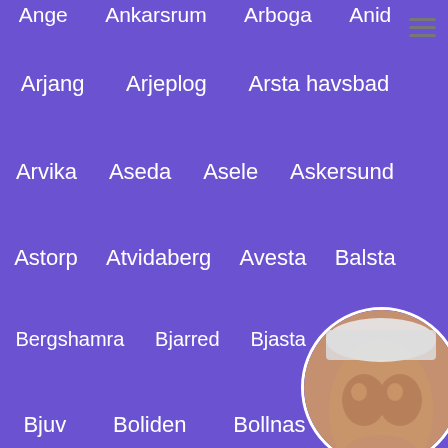Ange  Ankarsrum  Arboga  Anid
Arjang  Arjeplog  Arsta havsbad
Arvika  Aseda  Asele  Askersund
Astorp  Atvidaberg  Avesta  Balsta
Bergshamra  Bjarred  Bjasta  Bjorno
Bjuv  Boliden  Bollnas  Bor
Boras  Borgholm  Borlange  Borrby
Brosarp  Bruksvallarna  Dalby
Danmark  Deje  Docksta
Drottningholm  Edsbyn
Ekero  Eksjo  Ellos  Emmaljunga